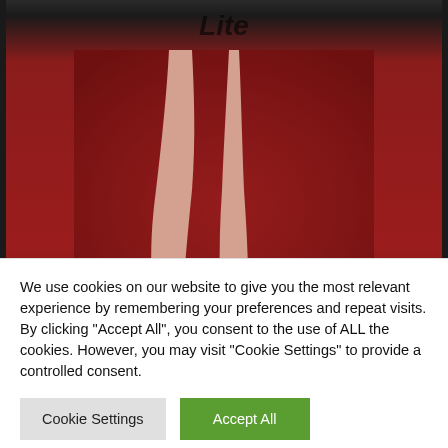[Figure (photo): Photo of legs in black high heels on a red carpet, dark background. Watermark text 'Lite' visible at top center.]
Ron Adar / Shutterstock.com
Although the timing of Ripa's turn to sobriety roughly coincided with Ryan Seacrest joining her as co-host on the morning show, prompting him to
We use cookies on our website to give you the most relevant experience by remembering your preferences and repeat visits. By clicking "Accept All", you consent to the use of ALL the cookies. However, you may visit "Cookie Settings" to provide a controlled consent.
Cookie Settings | Accept All